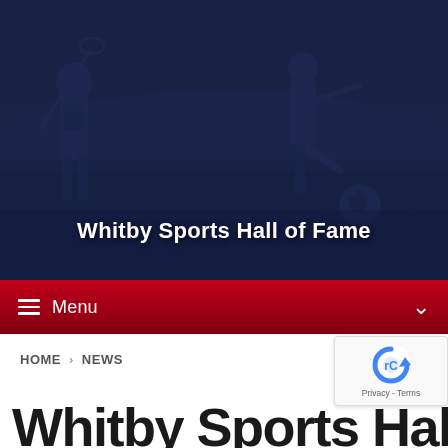[Figure (photo): Dark blue-tinted sports hero image showing a lacrosse player on the left and a soccer player kicking a ball on the right, set against a stadium background]
Whitby Sports Hall of Fame
[Figure (screenshot): Dark red navigation menu bar with hamburger menu icon and 'Menu' text on left, chevron/dropdown arrow on right]
HOME > NEWS
[Figure (other): reCAPTCHA badge showing the reCAPTCHA logo and Privacy - Terms text]
Whitby Sports Hall